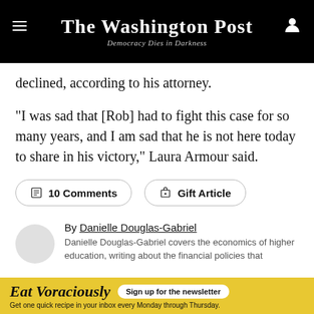The Washington Post — Democracy Dies in Darkness
declined, according to his attorney.
“I was sad that [Rob] had to fight this case for so many years, and I am sad that he is not here today to share in his victory,” Laura Armour said.
10 Comments
Gift Article
By Danielle Douglas-Gabriel
Danielle Douglas-Gabriel covers the economics of higher education, writing about the financial policies that
Eat Voraciously — Sign up for the newsletter — Get one quick recipe in your inbox every Monday through Thursday.